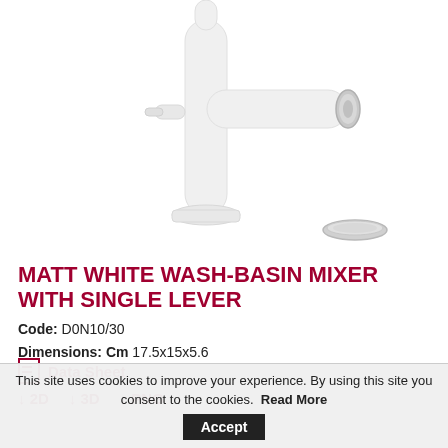[Figure (photo): Product photo of a matt white wash-basin mixer tap with single lever, shown with a chrome drain plug accessory, on white background]
MATT WHITE WASH-BASIN MIXER WITH SINGLE LEVER
Code: D0N10/30
Dimensions: Cm 17.5x15x5.6
Data Sheet
↓ 2D  ↓ 3D  ↓ PNG
This site uses cookies to improve your experience. By using this site you consent to the cookies.  Read More  Accept